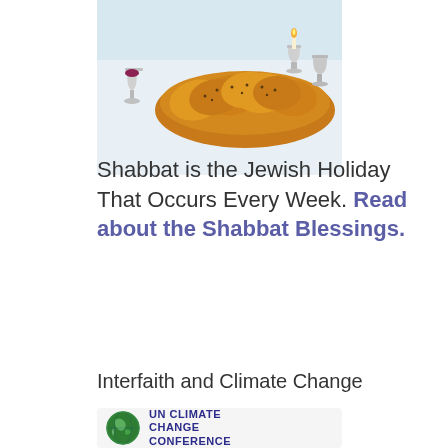[Figure (photo): Photo of challah bread and silver kiddush cups on a white tablecloth for Shabbat]
Shabbat is the Jewish Holiday That Occurs Every Week. Read about the Shabbat Blessings.
Interfaith and Climate Change
[Figure (logo): UN Climate Change Conference logo with green globe and dark blue text]